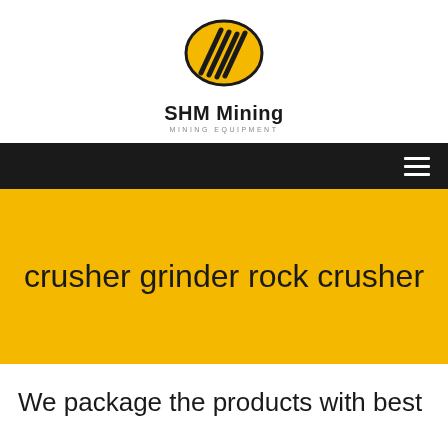[Figure (logo): SHM Mining logo: yellow ellipse with black diagonal lines (stylized 'M' or conveyor), text 'SHM Mining' and 'MINING EQUIPMENT' below]
[Figure (other): Black navigation bar with hamburger menu icon (three horizontal white lines) on the right]
crusher grinder rock crusher
We package the products with best